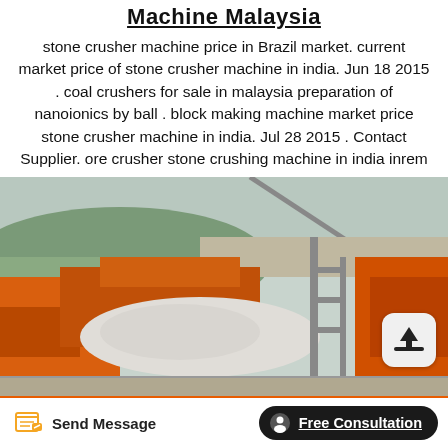Machine Malaysia
stone crusher machine price in Brazil market. current market price of stone crusher machine in india. Jun 18 2015 . coal crushers for sale in malaysia preparation of nanoionics by ball . block making machine market price stone crusher machine in india. Jul 28 2015 . Contact Supplier. ore crusher stone crushing machine in india inrem
[Figure (photo): Industrial stone crusher machine at a quarry site with orange heavy equipment, scaffolding, crushed rocks, and a flag in the background. An upload/share button is overlaid in the bottom-right corner.]
Send Message   Free Consultation